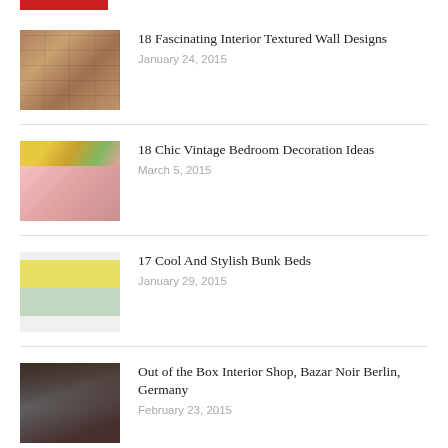[Figure (photo): Red bar graphic at top left]
18 Fascinating Interior Textured Wall Designs
January 24, 2015
18 Chic Vintage Bedroom Decoration Ideas
March 5, 2015
17 Cool And Stylish Bunk Beds
January 29, 2015
Out of the Box Interior Shop, Bazar Noir Berlin, Germany
February 23, 2015